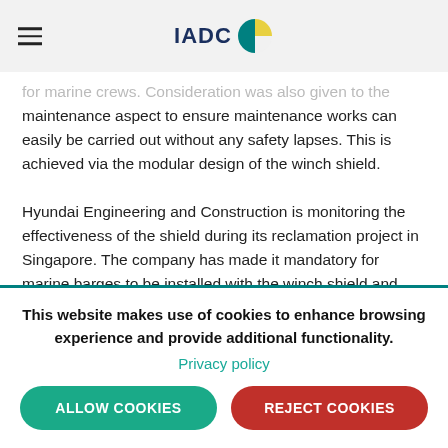IADC
for marine crews. Consideration was also given to the maintenance aspect to ensure maintenance works can easily be carried out without any safety lapses. This is achieved via the modular design of the winch shield.
Hyundai Engineering and Construction is monitoring the effectiveness of the shield during its reclamation project in Singapore. The company has made it mandatory for marine barges to be installed with the winch shield and
This website makes use of cookies to enhance browsing experience and provide additional functionality.
Privacy policy
ALLOW COOKIES
REJECT COOKIES